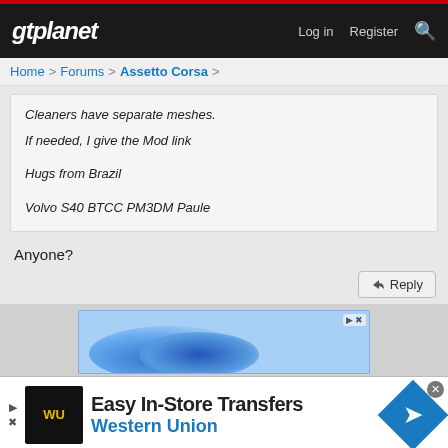gtplanet | Log in  Register
Home > Forums > Assetto Corsa >
Cleaners have separate meshes.
If needed, I give the Mod link

Hugs from Brazil

Volvo S40 BTCC PM3DM Paule
Anyone?
[Figure (screenshot): Reply button with arrow icon]
[Figure (screenshot): Advertisement banner area with blue gradient]
[Figure (infographic): Western Union Easy In-Store Transfers advertisement with WU logo and arrow icon]